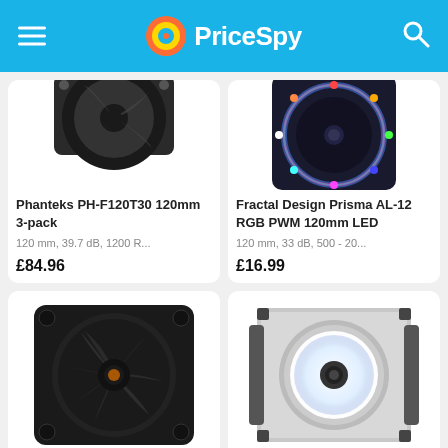PriceSpy
[Figure (screenshot): Phanteks PH-F120T30 120mm 3-pack fan product image (partially cropped)]
Phanteks PH-F120T30 120mm 3-pack
120 mm, 39.7 dB, 1200 R...
£84.96
[Figure (screenshot): Fractal Design Prisma AL-12 RGB PWM 120mm LED fan product image (partially cropped)]
Fractal Design Prisma AL-12 RGB PWM 120mm LED
120 mm, 33 dB, 500 - 20...
£16.99
[Figure (photo): be quiet! case fan (black, 120mm) product image]
[Figure (photo): Corsair white LED fan product image]